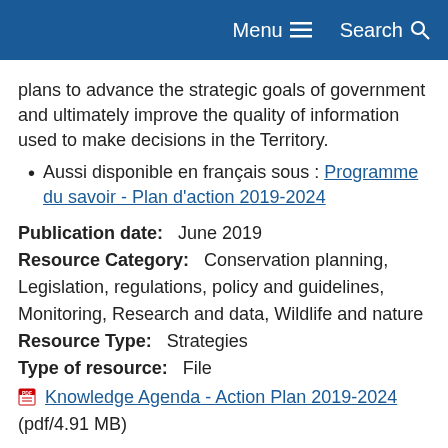Menu  Search
plans to advance the strategic goals of government and ultimately improve the quality of information used to make decisions in the Territory.
Aussi disponible en français sous : Programme du savoir - Plan d'action 2019-2024
Publication date:   June 2019
Resource Category:   Conservation planning, Legislation, regulations, policy and guidelines, Monitoring, Research and data, Wildlife and nature
Resource Type:   Strategies
Type of resource:   File
Knowledge Agenda - Action Plan 2019-2024 (pdf/4.91 MB)
Wildlife Act Phase 2 Regulations - Fact Sheet